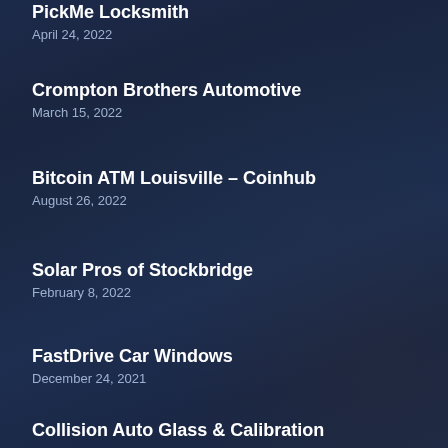PickMe Locksmith
April 24, 2022
Crompton Brothers Automotive
March 15, 2022
Bitcoin ATM Louisville – Coinhub
August 26, 2022
Solar Pros of Stockbridge
February 8, 2022
FastDrive Car Windows
December 24, 2021
Collision Auto Glass & Calibration